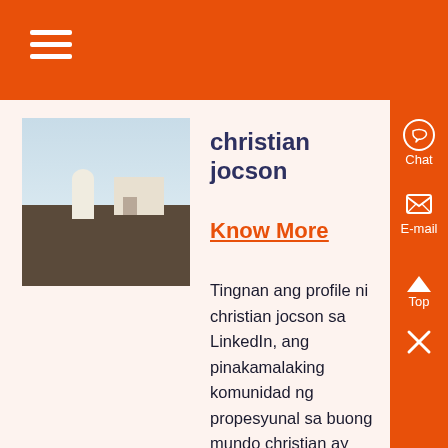≡
[Figure (photo): Profile photo of christian jocson showing a person in white clothing standing in a desert/rocky area with a white building in the background]
christian jocson
Know More
Tingnan ang profile ni christian jocson sa LinkedIn, ang pinakamalaking komunidad ng propesyunal sa buong mundo christian ay mayroong 4 mga trabaho na nakalista sa kanilang profile Makita ang kompletong profile sa LinkedIn at matuklasan christian ang mga koneksyon at trabaho sa kaparehong mga